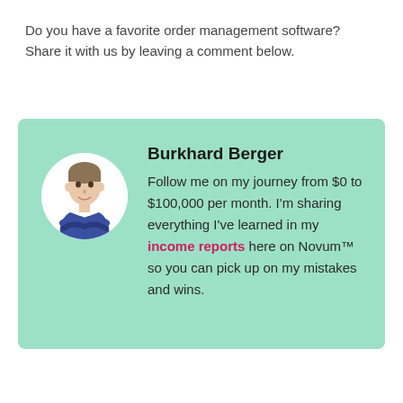Do you have a favorite order management software? Share it with us by leaving a comment below.
[Figure (infographic): Author bio card with circular headshot of Burkhard Berger on a mint/light-teal background. Text reads: Burkhard Berger. Follow me on my journey from $0 to $100,000 per month. I'm sharing everything I've learned in my income reports here on Novum™ so you can pick up on my mistakes and wins.]